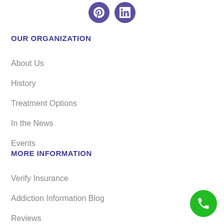[Figure (illustration): Two social media icons (Pinterest and LinkedIn) as purple circles with white logos, centered at top of page]
OUR ORGANIZATION
About Us
History
Treatment Options
In the News
Events
MORE INFORMATION
Verify Insurance
Addiction Information Blog
Reviews
[Figure (illustration): Green circular phone/call button in bottom right corner]